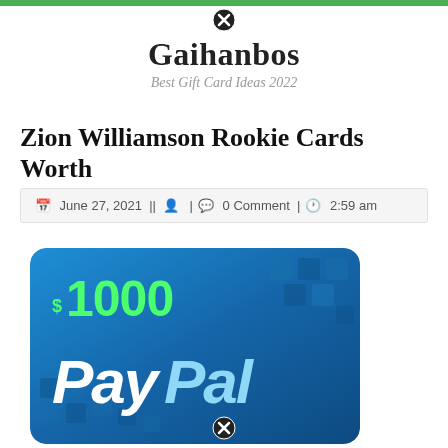Gaihanbos — Best Gift Card Ideas 2022
Zion Williamson Rookie Cards Worth
June 27, 2021 || [user icon] | [comment icon] 0 Comment | [clock icon] 2:59 am
[Figure (illustration): A blue PayPal gift card showing $1000 in green text and PayPal branding in white and light blue italic text, with decorative square tile pattern in the background.]